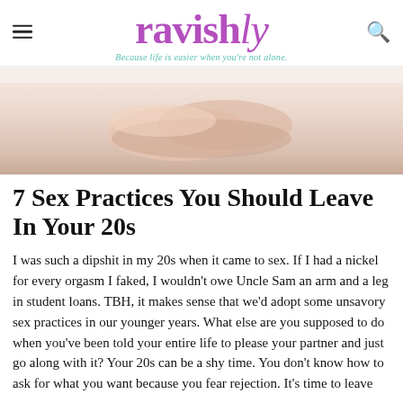ravishly — Because life is easier when you're not alone.
[Figure (photo): Close-up photo of a person's hands crossed, resting on a white surface, soft warm skin tones.]
7 Sex Practices You Should Leave In Your 20s
I was such a dipshit in my 20s when it came to sex. If I had a nickel for every orgasm I faked, I wouldn't owe Uncle Sam an arm and a leg in student loans. TBH, it makes sense that we'd adopt some unsavory sex practices in our younger years. What else are you supposed to do when you've been told your entire life to please your partner and just go along with it? Your 20s can be a shy time. You don't know how to ask for what you want because you fear rejection. It's time to leave